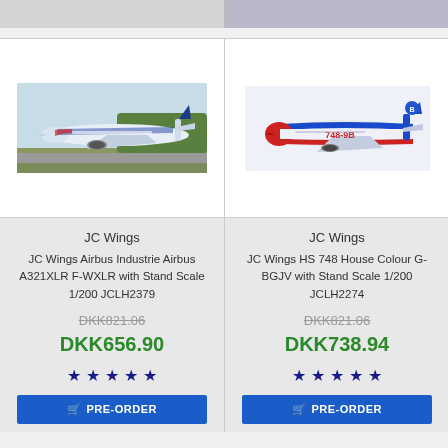[Figure (screenshot): Top navigation bar partially visible, grey background with two sections]
[Figure (photo): JC Wings Airbus A321XLR F-WXLR model airplane photo on runway]
[Figure (photo): JC Wings HS 748 House Colour G-BGJV model airplane photo, red white and blue livery]
JC Wings
JC Wings Airbus Industrie Airbus A321XLR F-WXLR with Stand Scale 1/200 JCLH2379
DKK821.06
DKK656.90
JC Wings
JC Wings HS 748 House Colour G-BGJV with Stand Scale 1/200 JCLH2274
DKK821.06
DKK738.94